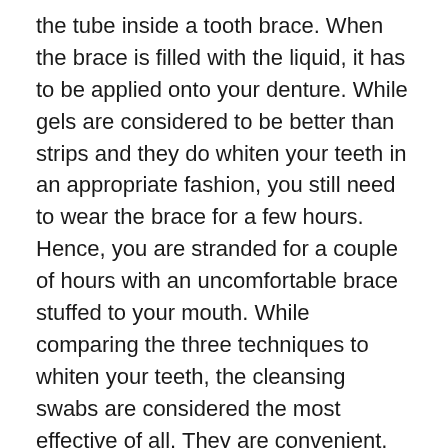the tube inside a tooth brace. When the brace is filled with the liquid, it has to be applied onto your denture. While gels are considered to be better than strips and they do whiten your teeth in an appropriate fashion, you still need to wear the brace for a few hours. Hence, you are stranded for a couple of hours with an uncomfortable brace stuffed to your mouth. While comparing the three techniques to whiten your teeth, the cleansing swabs are considered the most effective of all. They are convenient, speedy, affordable and effective.
For a simple and affordable way to whiten your teeth, purchase a whitening toothpaste from a drugstore. Using friction, the ingredients in this type of toothpaste eliminate stains and a built-up plague on your teeth. Over time, your teeth will become whiter and whiter as the toothpaste does its work.You can consider having a professional whiten your